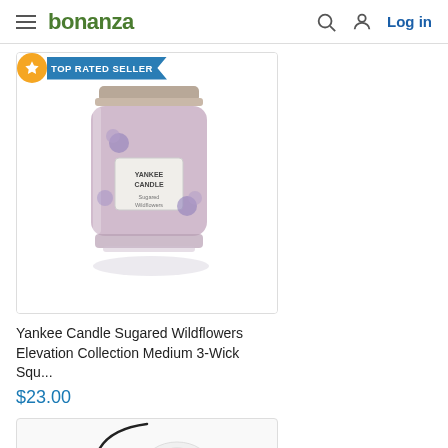bonanza — Log in
[Figure (screenshot): Product listing for Yankee Candle Sugared Wildflowers with Top Rated Seller badge]
Yankee Candle Sugared Wildflowers Elevation Collection Medium 3-Wick Squ...
$23.00
[Figure (photo): Partial view of a second product (appears to be ear buds or similar small white device with black cord)]